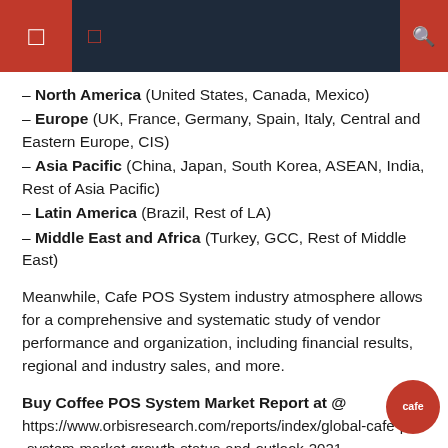– North America (United States, Canada, Mexico)
– Europe (UK, France, Germany, Spain, Italy, Central and Eastern Europe, CIS)
– Asia Pacific (China, Japan, South Korea, ASEAN, India, Rest of Asia Pacific)
– Latin America (Brazil, Rest of LA)
– Middle East and Africa (Turkey, GCC, Rest of Middle East)
Meanwhile, Cafe POS System industry atmosphere allows for a comprehensive and systematic study of vendor performance and organization, including financial results, regional and industry sales, and more.
Buy Coffee POS System Market Report at @ https://www.orbisresearch.com/reports/index/global-cafe-pos-system-market-growth-status-and-outlook-2021-